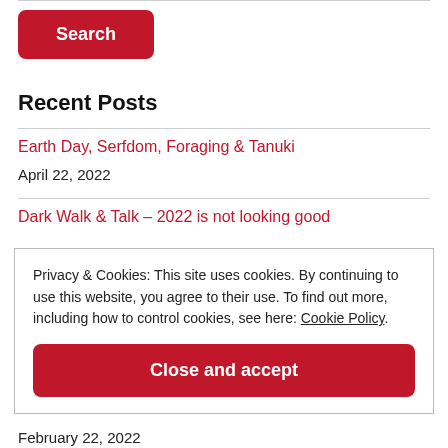[Figure (other): Red Search button]
Recent Posts
Earth Day, Serfdom, Foraging & Tanuki
April 22, 2022
Dark Walk & Talk – 2022 is not looking good
Privacy & Cookies: This site uses cookies. By continuing to use this website, you agree to their use. To find out more, including how to control cookies, see here: Cookie Policy
[Figure (other): Close and accept button]
February 22, 2022